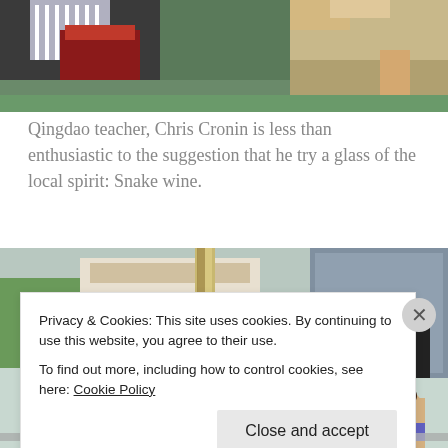[Figure (photo): Partial photo showing people standing, one person with a red bag/purse, another person in khaki shorts — cropped at top of page]
Qingdao teacher, Chris Cronin is less than enthusiastic to the suggestion that he try a glass of the local spirit: Snake wine.
[Figure (photo): Photo of two young boys looking over a railing or ledge on what appears to be a boat or ferry, with a street scene visible in the background through glass windows]
Privacy & Cookies: This site uses cookies. By continuing to use this website, you agree to their use.
To find out more, including how to control cookies, see here: Cookie Policy
Close and accept